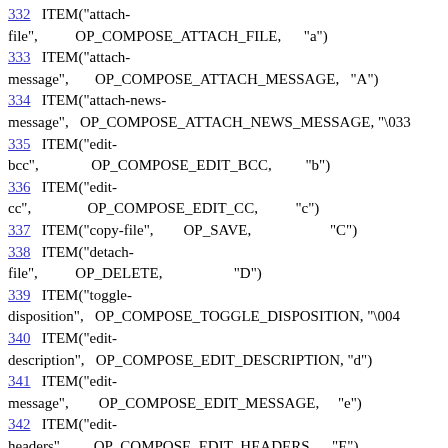332   ITEM("attach-file",          OP_COMPOSE_ATTACH_FILE,      "a")
333   ITEM("attach-message",       OP_COMPOSE_ATTACH_MESSAGE,    "A")
334   ITEM("attach-news-message",  OP_COMPOSE_ATTACH_NEWS_MESSAGE, "\033
335   ITEM("edit-bcc",              OP_COMPOSE_EDIT_BCC,          "b")
336   ITEM("edit-cc",               OP_COMPOSE_EDIT_CC,           "c")
337   ITEM("copy-file",            OP_SAVE,                      "C")
338   ITEM("detach-file",          OP_DELETE,                    "D")
339   ITEM("toggle-disposition",   OP_COMPOSE_TOGGLE_DISPOSITION, "\004
340   ITEM("edit-description",     OP_COMPOSE_EDIT_DESCRIPTION,  "d")
341   ITEM("edit-message",         OP_COMPOSE_EDIT_MESSAGE,      "e")
342   ITEM("edit-headers",         OP_COMPOSE_EDIT_HEADERS,      "E")
343   ITEM("edit-file",            OP_COMPOSE_EDIT_FILE,         "\030e")
344   ITEM("edit-encoding",        OP_COMPOSE_EDIT_ENCODING,     "\005")